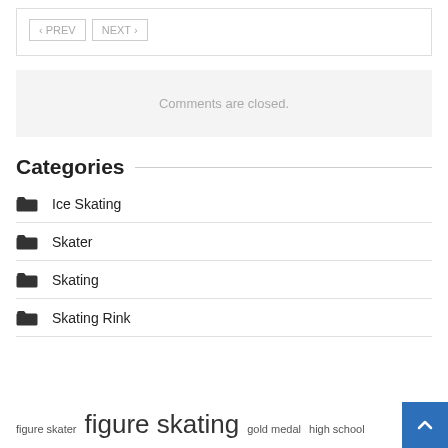[Figure (screenshot): Navigation buttons: PREV and NEXT inside a bordered box]
Comments are closed.
Categories
Ice Skating
Skater
Skating
Skating Rink
figure skater  figure skating  gold medal  high school